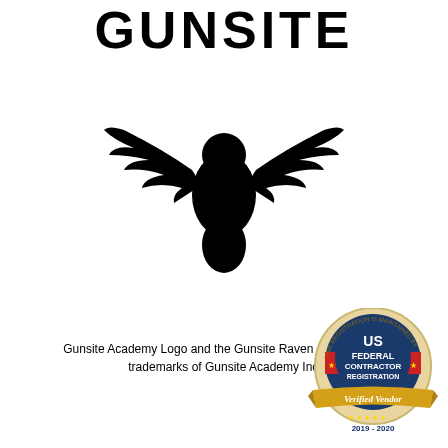GUNSITE
[Figure (illustration): Black silhouette of a raven with wings spread wide, the Gunsite Academy logo bird]
Gunsite Academy Logo and the Gunsite Raven are exclusive trademarks of Gunsite Academy Inc.
[Figure (logo): US Federal Contractor Registration Verified Vendor 2019-2020 badge/seal]